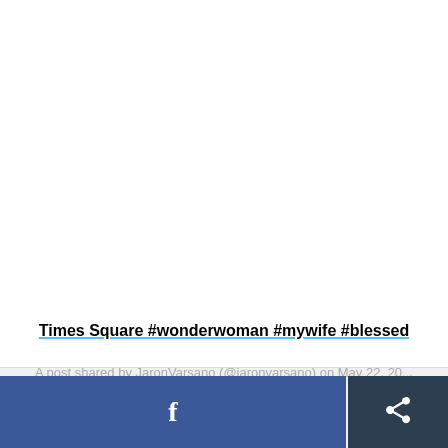Times Square #wonderwoman #mywife #blessed
A post shared by JaronVarsano (@jaronvarsano) on May 22, 20...